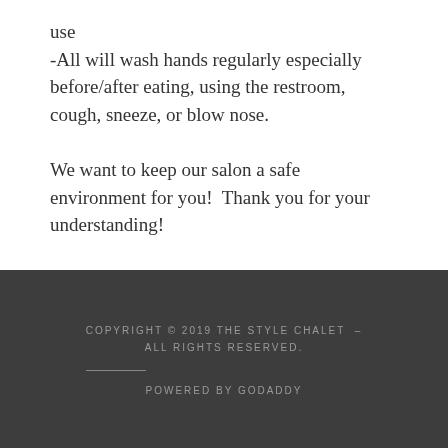use
-All will wash hands regularly especially before/after eating, using the restroom, cough, sneeze, or blow nose.
We want to keep our salon a safe environment for you!  Thank you for your understanding!
COPYRIGHT © 2019 THE STYLE CHALET  -  ALL RIGHTS RESERVED.
POWERED BY GODADDY